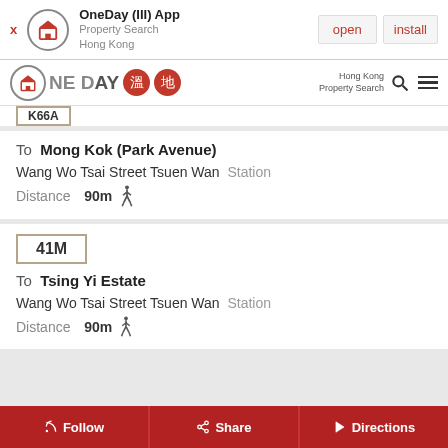[Figure (screenshot): OneDay app install banner with open and install buttons]
OneDay (III) App Property Search Hong Kong — open | install
[Figure (logo): OneDay Property Search Hong Kong navigation bar with logo, Chinese character icons, search and menu icons]
To Mong Kok (Park Avenue)
Wang Wo Tsai Street Tsuen Wan Station
Distance 90m
41M
To Tsing Yi Estate
Wang Wo Tsai Street Tsuen Wan Station
Distance 90m
Follow  Share  Directions